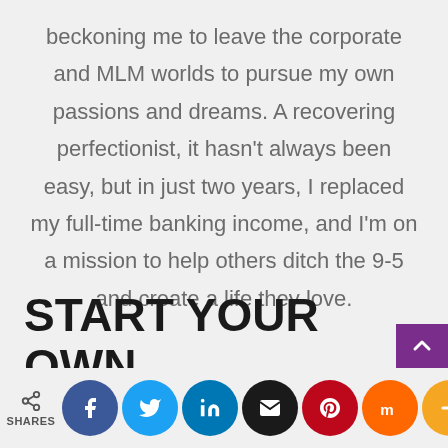beckoning me to leave the corporate and MLM worlds to pursue my own passions and dreams. A recovering perfectionist, it hasn't always been easy, but in just two years, I replaced my full-time banking income, and I'm on a mission to help others ditch the 9-5 and create a life they love.
START YOUR OWN BLOG HERE
SHARES | Facebook | Twitter | LinkedIn | Email | Pinterest | Mix | More